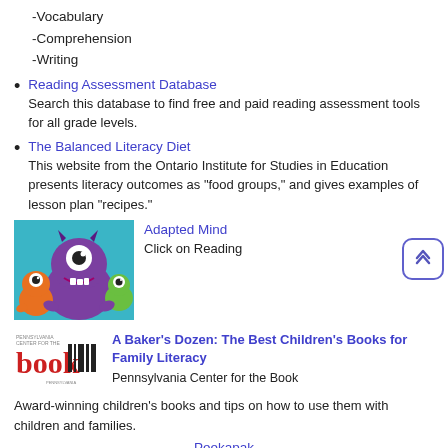-Vocabulary
-Comprehension
-Writing
Reading Assessment Database
Search this database to find free and paid reading assessment tools for all grade levels.
The Balanced Literacy Diet
This website from the Ontario Institute for Studies in Education presents literacy outcomes as "food groups," and gives examples of lesson plan "recipes."
[Figure (illustration): Cartoon monsters image for Adapted Mind website]
Adapted Mind
Click on Reading
[Figure (logo): Pennsylvania Center for the Book logo]
A Baker's Dozen: The Best Children's Books for Family Literacy
Pennsylvania Center for the Book
Award-winning children's books and tips on how to use them with children and families.
Peekapak